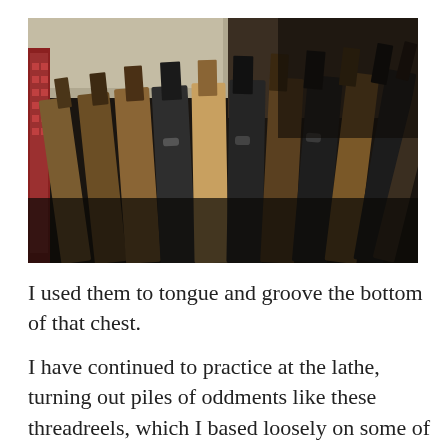[Figure (photo): Collection of wooden hand planes arranged side by side on a shelf, viewed from above at an angle, showing various sizes of planes with wooden and metal bodies stored vertically.]
I used them to tongue and groove the bottom of that chest.
I have continued to practice at the lathe, turning out piles of oddments like these threadreels, which I based loosely on some of the reels which were found on the shipwreck Mary Rose. They're